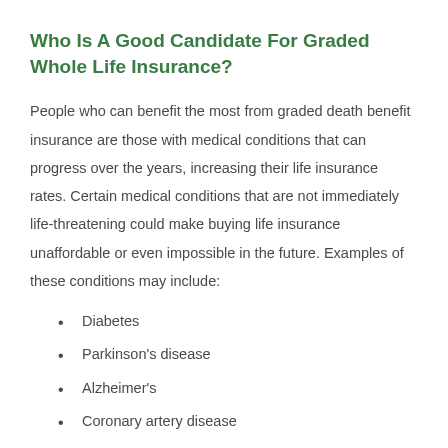Who Is A Good Candidate For Graded Whole Life Insurance?
People who can benefit the most from graded death benefit insurance are those with medical conditions that can progress over the years, increasing their life insurance rates. Certain medical conditions that are not immediately life-threatening could make buying life insurance unaffordable or even impossible in the future. Examples of these conditions may include:
Diabetes
Parkinson's disease
Alzheimer's
Coronary artery disease